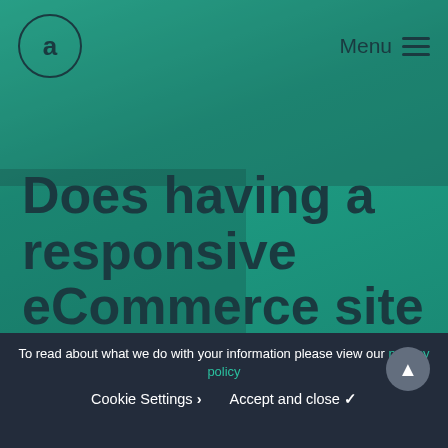[Figure (screenshot): Hero section of an eCommerce website with teal/green overlay background showing a person working on a laptop. Navigation bar at top with circular logo and Menu button.]
Does having a responsive eCommerce site
To read about what we do with your information please view our privacy policy
Cookie Settings  Accept and close